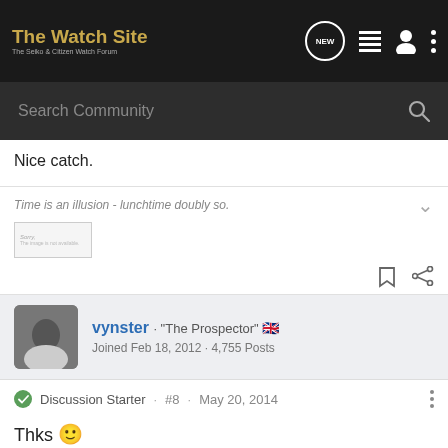The Watch Site - The Seiko & Citizen Watch Forum
Nice catch.
Time is an illusion - lunchtime doubly so.
vynster · "The Prospector" 🇬🇧
Joined Feb 18, 2012 · 4,755 Posts
Discussion Starter · #8 · May 20, 2014
Thks 🙂